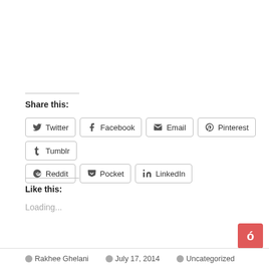Share this:
Twitter
Facebook
Email
Pinterest
Tumblr
Reddit
Pocket
LinkedIn
Like this:
Loading...
Rakhee Ghelani  July 17, 2014  Uncategorized